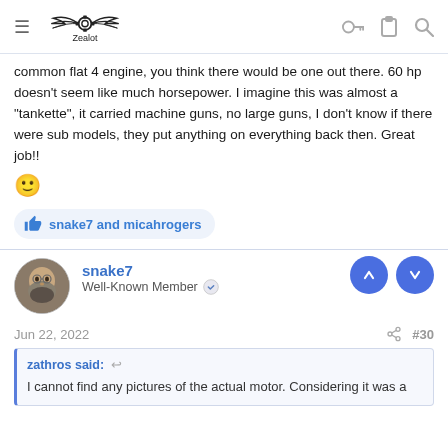Zealot
common flat 4 engine, you think there would be one out there. 60 hp doesn't seem like much horsepower. I imagine this was almost a "tankette", it carried machine guns, no large guns, I don't know if there were sub models, they put anything on everything back then. Great job!! 🙂
snake7 and micahrogers
snake7
Well-Known Member
Jun 22, 2022  #30
zathros said: ↩
I cannot find any pictures of the actual motor. Considering it was a